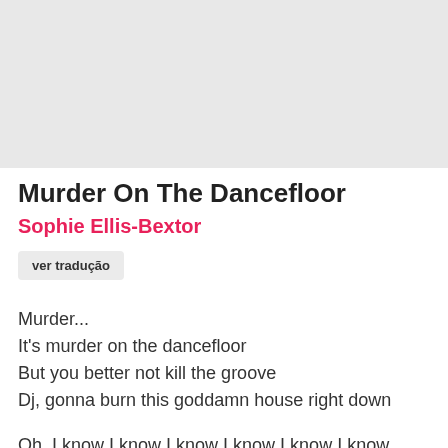[Figure (other): Light gray rectangular placeholder image at the top of the page]
Murder On The Dancefloor
Sophie Ellis-Bextor
ver tradução
Murder...
It's murder on the dancefloor
But you better not kill the groove
Dj, gonna burn this goddamn house right down

Oh, I know I know I know I know I know I know
About your kind